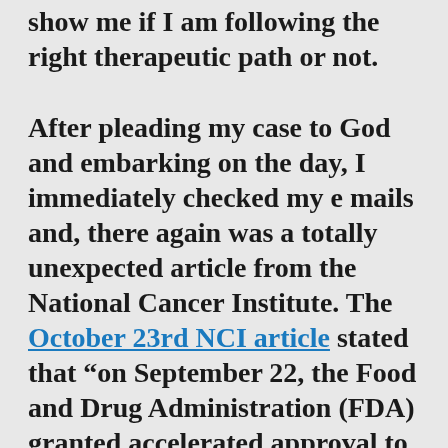show me if I am following the right therapeutic path or not.
After pleading my case to God and embarking on the day, I immediately checked my e mails and, there again was a totally unexpected article from the National Cancer Institute. The October 23rd NCI article stated that “on September 22, the Food and Drug Administration (FDA) granted accelerated approval to the immunotherapy drug nivolumab (Opdivo®) for some patients with advanced